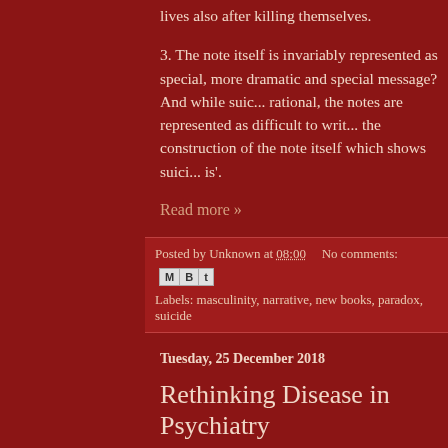lives also after killing themselves.
3. The note itself is invariably represented as special... more dramatic and special message? And while suic... rational, the notes are represented as difficult to writ... the construction of the note itself which shows suici... is'.
Read more »
Posted by Unknown at 08:00   No comments:
Labels: masculinity, narrative, new books, paradox, suicide
Tuesday, 25 December 2018
Rethinking Disease in Psychiatry
This post is by Jennifer Radden, Professor Emerita o...